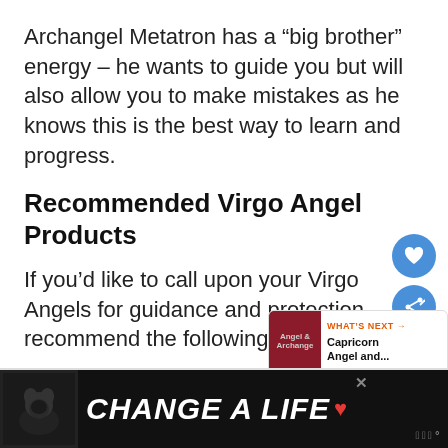Archangel Metatron has a “big brother” energy – he wants to guide you but will also allow you to make mistakes as he knows this is the best way to learn and progress.
Recommended Virgo Angel Products
If you’d like to call upon your Virgo Angels for guidance and protection, recommend the following proc...
[Figure (screenshot): UI overlay with heart button, share button, and What's Next widget showing Capricorn Angel and... plus ad banner: Change A Life with dog image]